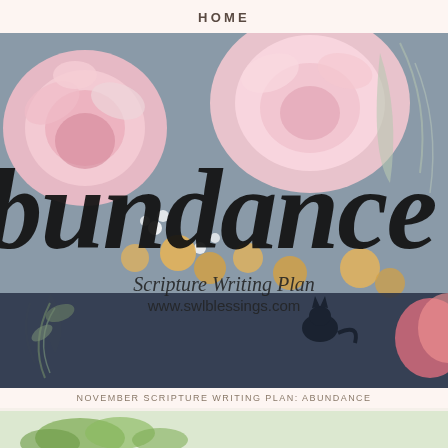HOME
[Figure (illustration): Floral illustration with large pink peonies/ranunculus and small white flowers on a gray background. Large cursive script text reads 'abundance' overlaid on the flowers. Below the script text: 'Scripture Writing Plan' and 'www.swlblessings.com'. Lower portion transitions to a dark navy background with botanical elements and a small black cat figure.]
NOVEMBER SCRIPTURE WRITING PLAN: ABUNDANCE
[Figure (photo): Partial bottom strip showing what appears to be a food or nature photo with green herbs/garnish visible.]